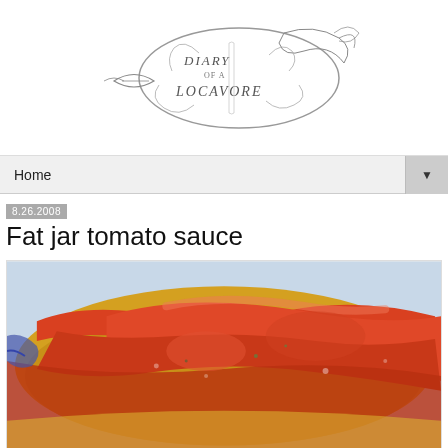[Figure (logo): Diary of a Locavore decorative script logo with swirling ornamental design and a fish/leaf motif]
Home ▼
8.26.2008
Fat jar tomato sauce
[Figure (photo): Close-up macro photograph of chunky tomato sauce in a round dish, glistening red-orange tomato pieces with a spoon visible at the left edge]